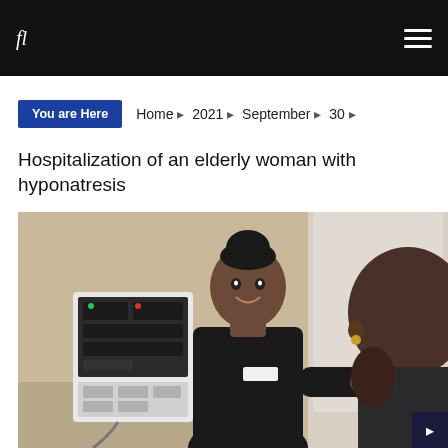fl  ≡
You are Here  Home ▷ 2021 ▷ September ▷ 30 ▷
Hospitalization of an elderly woman with hyponatresis
[Figure (photo): A nurse in black uniform smiling while using a medical monitoring device with an elderly patient in a clinical setting.]